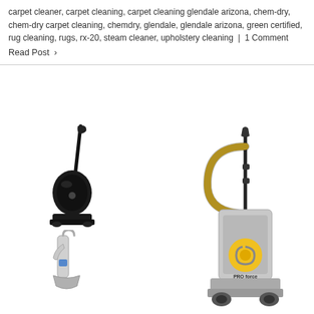carpet cleaner, carpet cleaning, carpet cleaning glendale arizona, chem-dry, chem-dry carpet cleaning, chemdry, glendale, glendale arizona, green certified, rug cleaning, rugs, rx-20, steam cleaner, upholstery cleaning | 1 Comment
Read Post ›
[Figure (photo): Black upright vacuum cleaner]
[Figure (photo): Small handheld cleaning tool / nozzle device, white and blue]
[Figure (photo): ProForce HEPA upright vacuum cleaner, grey body with yellow logo and black hose]